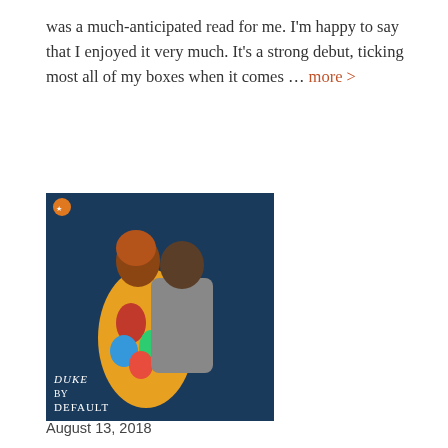was a much-anticipated read for me. I'm happy to say that I enjoyed it very much. It's a strong debut, ticking most all of my boxes when it comes ... more >
[Figure (photo): Book cover of 'Duke by Default' showing a couple embracing, the woman in a colorful patterned dress and the man in a grey shirt, with the title text 'Duke by Default' at the bottom left.]
August 13, 2018
REVIEW: A Duke by Default by Alyssa Cole
Kaetrin | B REVIEWS / B+ REVIEWS / C+ REVIEWS | ADHD / Contemporary / Duke / grumpy hero / interracial relationship / Scotland / sword making | 32 Comments